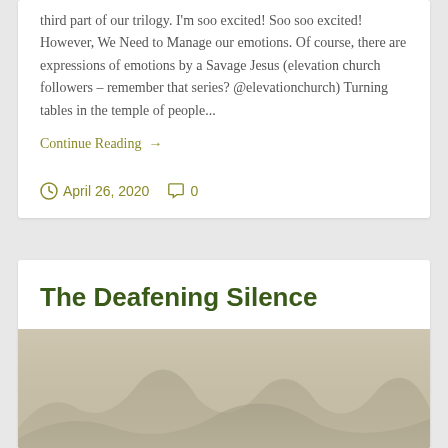third part of our trilogy. I'm soo excited! Soo soo excited! However, We Need to Manage our emotions. Of course, there are expressions of emotions by a Savage Jesus (elevation church followers – remember that series? @elevationchurch) Turning tables in the temple of people...
Continue Reading →
April 26, 2020   0
The Deafening Silence
[Figure (photo): Misty mountain landscape with foggy trees in the background and a hazy beige/tan sky. Some white icon shapes visible at the bottom center.]